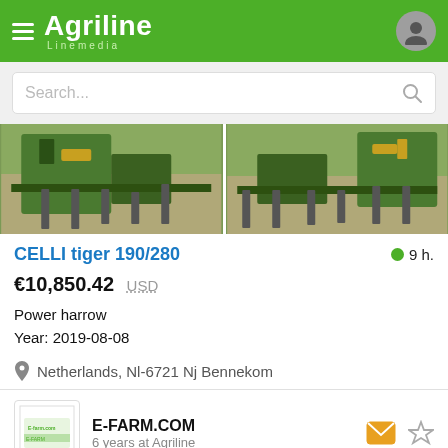Agriline Linemedia
Search...
[Figure (photo): Two photos of CELLI tiger 190/280 power harrow machine shown side-by-side, green agricultural equipment on paved surface]
CELLI tiger 190/280
9 h.
€10,850.42  USD
Power harrow
Year: 2019-08-08
Netherlands, Nl-6721 Nj Bennekom
E-FARM.COM
6 years at Agriline
[Figure (photo): Two partial photos visible at the bottom of the page showing farming equipment]